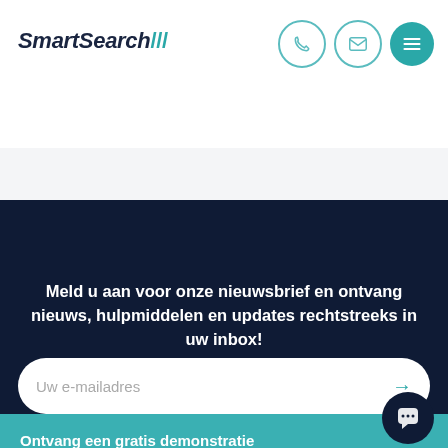SmartSearch///
[Figure (other): Navigation icons: phone, email, hamburger menu in teal circles]
Meld u aan voor onze nieuwsbrief en ontvang nieuws, hulpmiddelen en updates rechtstreeks in uw inbox!
[Figure (other): Email input field with placeholder 'Uw e-mailadres' and teal arrow button]
Ontvang een gratis demonstratie